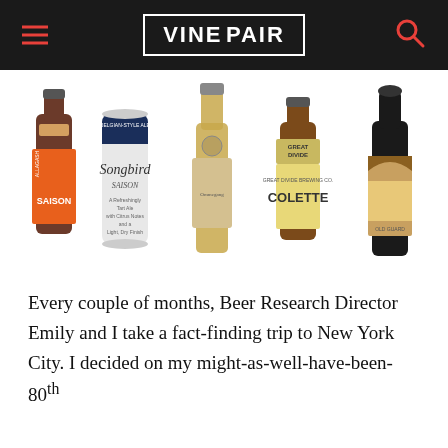VINEPAIR
[Figure (photo): Five beer bottles/cans arranged in a row: Allagash Saison (brown bottle with orange label), Songbird Saison (blue and white can), an unlabeled Belgian-style bottle, Great Divide Colette (brown bottle with yellow label), and a dark bottle with landscape label.]
Every couple of months, Beer Research Director Emily and I take a fact-finding trip to New York City. I decided on my might-as-well-have-been-80th